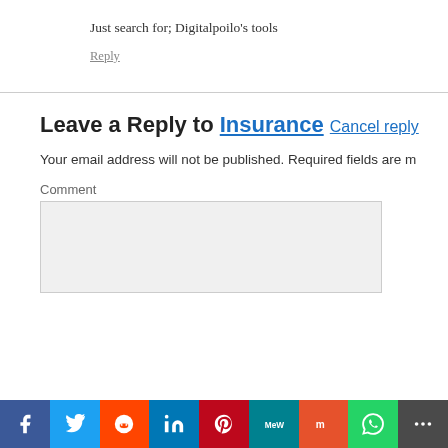Just search for; Digitalpoilo's tools
Reply
Leave a Reply to Insurance Cancel reply
Your email address will not be published. Required fields are m…
Comment
[Figure (infographic): Social sharing bar with Facebook, Twitter, Reddit, LinkedIn, Pinterest, MeWe, Mix, WhatsApp, and More buttons]